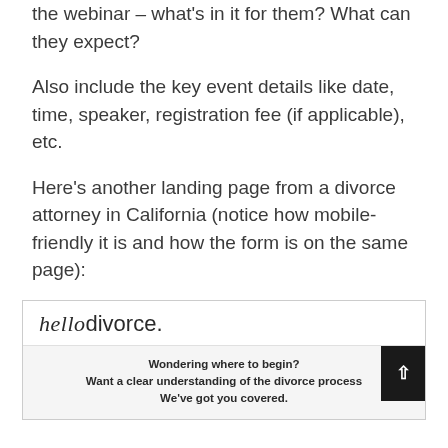the webinar – what's in it for them? What can they expect?
Also include the key event details like date, time, speaker, registration fee (if applicable), etc.
Here's another landing page from a divorce attorney in California (notice how mobile-friendly it is and how the form is on the same page):
[Figure (screenshot): Screenshot of 'hello divorce.' landing page with text 'Wondering where to begin? Want a clear understanding of the divorce process? We've got you covered.' and a dark scroll-to-top button.]